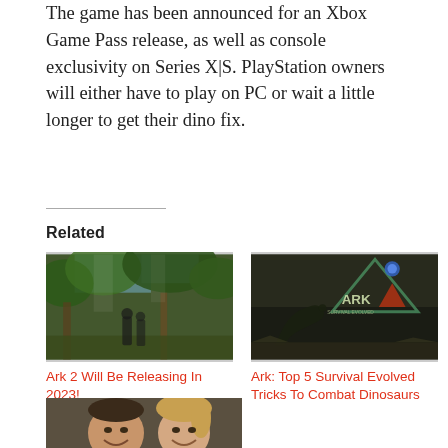The game has been announced for an Xbox Game Pass release, as well as console exclusivity on Series X|S. PlayStation owners will either have to play on PC or wait a little longer to get their dino fix.
Related
[Figure (photo): Screenshot from Ark 2 game showing jungle environment with characters]
Ark 2 Will Be Releasing In 2023!
[Figure (photo): Ark: Survival Evolved game cover art showing dinosaur and ARK logo]
Ark: Top 5 Survival Evolved Tricks To Combat Dinosaurs
[Figure (photo): Two people smiling closely together in a selfie photo]